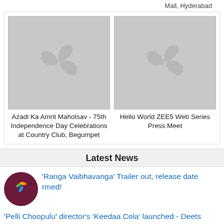Mall, Hyderabad
[Figure (photo): Placeholder image with film strip icon for Azadi Ka Amrit Mahotsav event]
Azadi Ka Amrit Mahotsav - 75th Independence Day Celebrations at Country Club, Begumpet
[Figure (photo): Placeholder image with film strip icon for Hello World ZEE5 Web Series Press Meet]
Hello World ZEE5 Web Series Press Meet
Latest News
'Ranga Vaibhavanga' Trailer out, release date rmed!
'Pelli Choopulu' director's 'Keedaa Cola' launched - Deets inside
'Ma Hunte Raa tho…' - Chi…